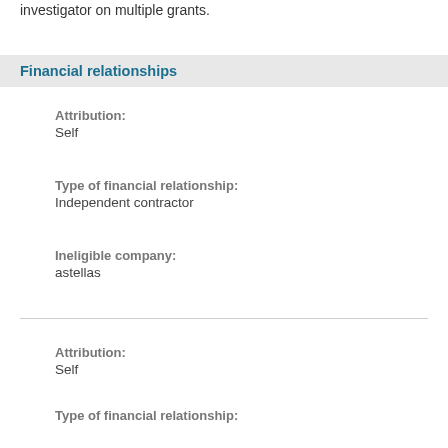investigator on multiple grants.
Financial relationships
Attribution:
Self
Type of financial relationship:
Independent contractor
Ineligible company:
astellas
Attribution:
Self
Type of financial relationship:
Independent contractor